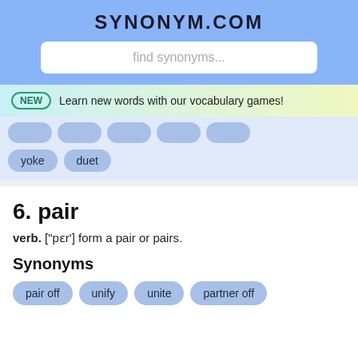SYNONYM.COM
find synonyms...
NEW  Learn new words with our vocabulary games!
yoke
duet
6. pair
verb. ["pɛr'] form a pair or pairs.
Synonyms
pair off
unify
unite
partner off